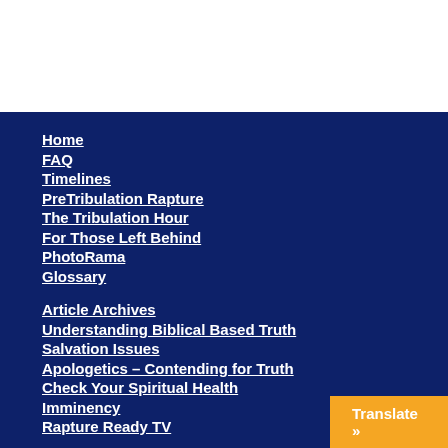Home
FAQ
Timelines
PreTribulation Rapture
The Tribulation Hour
For Those Left Behind
PhotoRama
Glossary
Article Archives
Understanding Biblical Based Truth
Salvation Issues
Apologetics – Contending for Truth
Check Your Spiritual Health
Imminency
Rapture Ready TV
Translate »